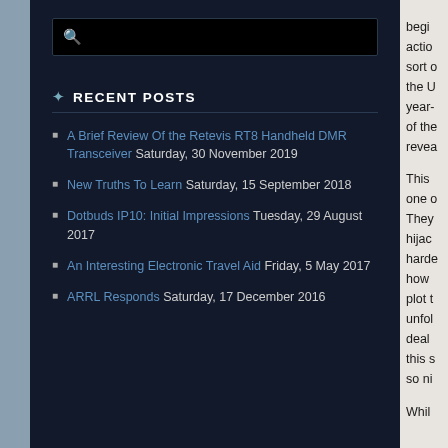RECENT POSTS
A Brief Review Of the Retevis RT8 Handheld DMR Transceiver Saturday, 30 November 2019
New Truths To Learn Saturday, 15 September 2018
Dotbuds IP10: Initial Impressions Tuesday, 29 August 2017
An Interesting Electronic Travel Aid Friday, 5 May 2017
ARRL Responds Saturday, 17 December 2016
begin action sort o the U year- of the revea This one o They hijac hard how plot t unfol deal this s so ni Whil